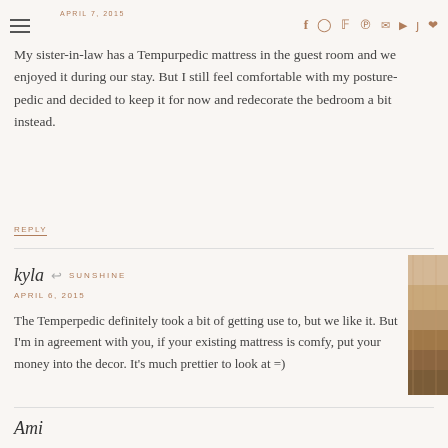APRIL 7, 2015 [navigation bar with hamburger menu and social icons: f, instagram, twitter, p, mail, youtube, tiktok, heart]
My sister-in-law has a Tempurpedic mattress in the guest room and we enjoyed it during our stay. But I still feel comfortable with my posture-pedic and decided to keep it for now and redecorate the bedroom a bit instead.
REPLY
kyla → SUNSHINE
APRIL 6, 2015
The Temperpedic definitely took a bit of getting use to, but we like it. But I'm in agreement with you, if your existing mattress is comfy, put your money into the decor. It's much prettier to look at =)
Ami